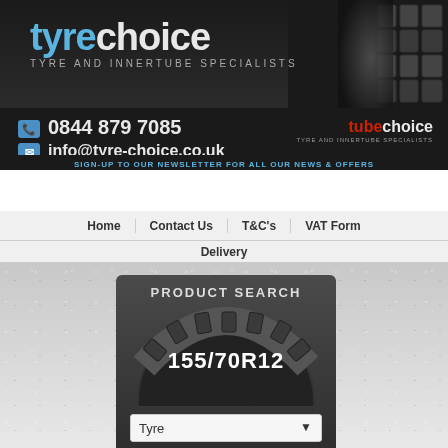[Figure (screenshot): Tyre Choice website header with dark background and tyre image on the right side showing the logo 'tyrechoice' and subtitle 'TYRE AND INNERTUBE SPECIALISTS']
0844 879 7085
info@tyre-choice.co.uk
tubechoice
SIGN-UP TO OUR NEWSLETTER FOR ALL OUR NEWS & OFFERS
Full Name | Email Address | GO
Home
Contact Us
T&C's
VAT Form
Delivery
[Figure (screenshot): Product search box with dark background, showing a tyre image with '155/70R12' text, a 'Tyre' dropdown selector, a text input field with placeholder 'e.g. 155/70R12', and buttons 'NEED HELP?' and 'SUBMIT']